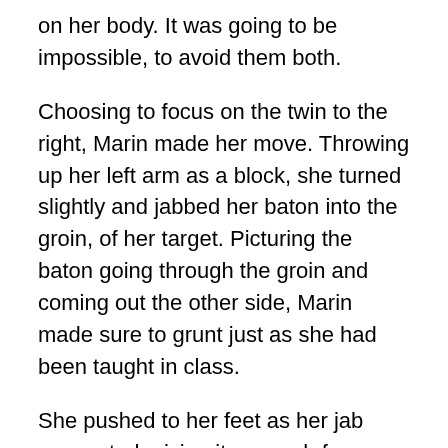on her body. It was going to be impossible, to avoid them both.
Choosing to focus on the twin to the right, Marin made her move. Throwing up her left arm as a block, she turned slightly and jabbed her baton into the groin, of her target. Picturing the baton going through the groin and coming out the other side, Marin made sure to grunt just as she had been taught in class.
She pushed to her feet as her jab connected, giving it as much force as possible. The man from the right fell to his knees, his mouth open in a silent scream of agony. His swing lost most of it’s force but still connected with her thigh, before he abandoned the fight and doubled over in defeat.
“Son of a,” Marin couldn’t finish her expletive